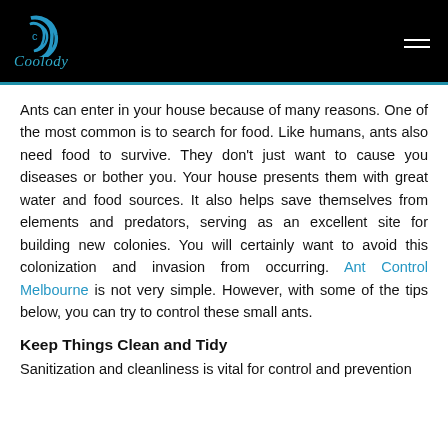Coolody
Ants can enter in your house because of many reasons. One of the most common is to search for food. Like humans, ants also need food to survive. They don't just want to cause you diseases or bother you. Your house presents them with great water and food sources. It also helps save themselves from elements and predators, serving as an excellent site for building new colonies. You will certainly want to avoid this colonization and invasion from occurring. Ant Control Melbourne is not very simple. However, with some of the tips below, you can try to control these small ants.
Keep Things Clean and Tidy
Sanitization and cleanliness is vital for control and prevention